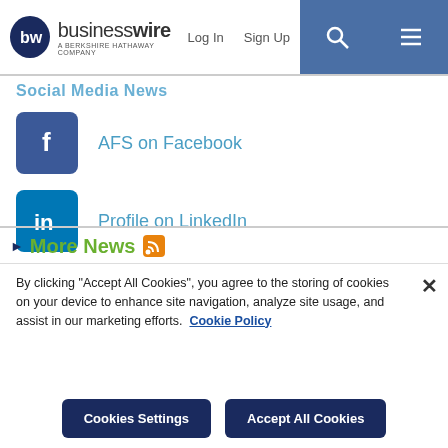businesswire · A Berkshire Hathaway Company · Log In · Sign Up
Social Media News
AFS on Facebook
Profile on LinkedIn
AFS on YouTube
AFS on Instagram
More News
By clicking "Accept All Cookies", you agree to the storing of cookies on your device to enhance site navigation, analyze site usage, and assist in our marketing efforts. Cookie Policy